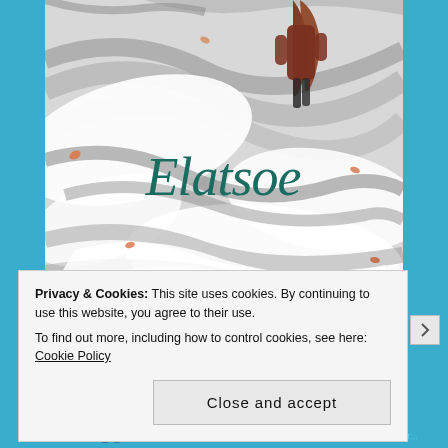[Figure (illustration): Book cover for 'Elatsoe' showing a girl with long brown hair in a brown coat standing among swirling white and grey fabric-like waves with fallen leaves. The title 'Elatsoe' is written in a teal/dark green cursive script across the middle of the cover.]
Privacy & Cookies: This site uses cookies. By continuing to use this website, you agree to their use.
To find out more, including how to control cookies, see here: Cookie Policy
Close and accept